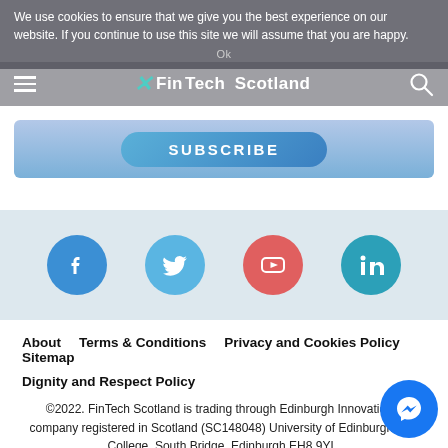We use cookies to ensure that we give you the best experience on our website. If you continue to use this site we will assume that you are happy.
[Figure (screenshot): Website navigation bar with hamburger menu, FinTech Scotland logo, and search icon]
[Figure (screenshot): Subscribe button with blue gradient background]
[Figure (infographic): Social media icons: Facebook, Twitter, YouTube, LinkedIn on light blue background]
About   Terms & Conditions   Privacy and Cookies Policy   Sitemap
Dignity and Respect Policy
©2022. FinTech Scotland is trading through Edinburgh Innovations, company registered in Scotland (SC148048) University of Edinburgh, Old College, South Bridge, Edinburgh EH8 9YL.